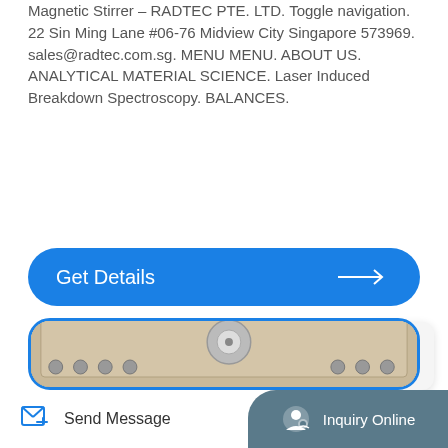Magnetic Stirrer – RADTEC PTE. LTD. Toggle navigation. 22 Sin Ming Lane #06-76 Midview City Singapore 573969. sales@radtec.com.sg. MENU MENU. ABOUT US. ANALYTICAL MATERIAL SCIENCE. Laser Induced Breakdown Spectroscopy. BALANCES.
[Figure (screenshot): Blue rounded rectangle button labeled 'Get Details' with a right-pointing arrow on the right side]
[Figure (screenshot): TOP button – a small rounded square with an upward caret and the word TOP]
[Figure (photo): Product card with blue border showing a photo of a magnetic stirrer device (beige/tan colored hardware unit with bolts and circular elements)]
[Figure (screenshot): Bottom bar with 'Send Message' button on left and 'Inquiry Online' button on right with teal/dark background]